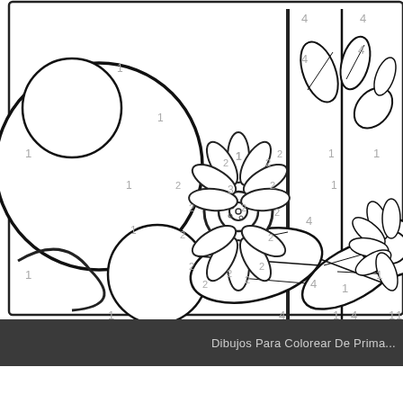[Figure (illustration): A color-by-number coloring page showing sunflowers with numbered regions. Numbers 1-4 are distributed across sections. The image shows a large decorative sunflower in the center with petals, leaves, stem, and circular background elements. Numbers indicate which color to use in each region.]
Dibujos Para Colorear De Prima...